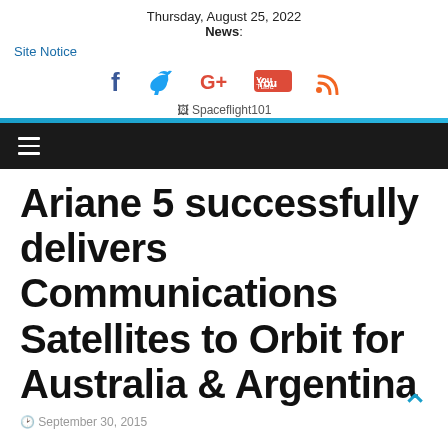Thursday, August 25, 2022
News:
Site Notice
[Figure (infographic): Social media icons: Facebook, Twitter, Google+, YouTube, RSS]
[Figure (logo): Spaceflight101 logo image placeholder]
Ariane 5 successfully delivers Communications Satellites to Orbit for Australia & Argentina
September 30, 2015